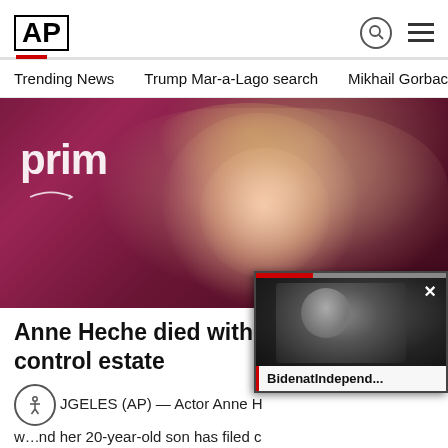AP
Trending News   Trump Mar-a-Lago search   Mikhail Gorbachev d
[Figure (photo): Photo of a smiling blonde woman at a Prime Video event, with purple/maroon background and Amazon Prime logo visible]
Anne Heche died without a w... control estate
LOS ANGELES (AP) — Actor Anne H... w...nd her 20-year-old son has filed c
[Figure (screenshot): Video overlay thumbnail showing Biden speaking at a podium with label 'BidenatIndepend...']